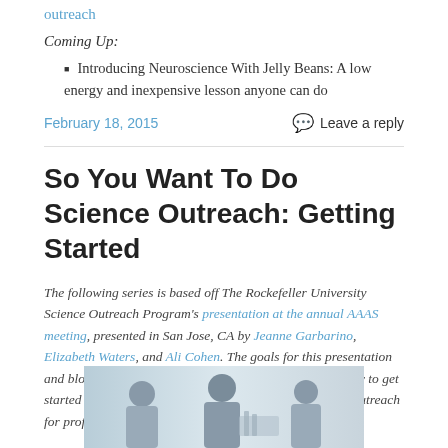outreach
Coming Up:
Introducing Neuroscience With Jelly Beans: A low energy and inexpensive lesson anyone can do
February 18, 2015    Leave a reply
So You Want To Do Science Outreach: Getting Started
The following series is based off The Rockefeller University Science Outreach Program's presentation at the annual AAAS meeting, presented in San Jose, CA by Jeanne Garbarino, Elizabeth Waters, and Ali Cohen. The goals for this presentation and blog post series are to introduce science outreach, how to get started in science outreach, and how to leverage science outreach for professional development.
[Figure (photo): Photo of researchers/scientists in a lab setting]